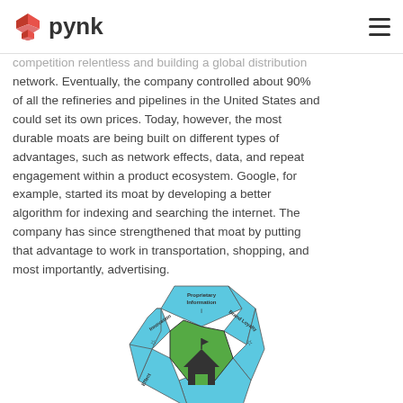pynk
competition relentless and building a global distribution network. Eventually, the company controlled about 90% of all the refineries and pipelines in the United States and could set its own prices. Today, however, the most durable moats are being built on different types of advantages, such as network effects, data, and repeat engagement within a product ecosystem. Google, for example, started its moat by developing a better algorithm for indexing and searching the internet. The company has since strengthened that moat by putting that advantage to work in transportation, shopping, and most importantly, advertising.
[Figure (infographic): Octagonal moat diagram showing competitive advantages: Proprietary Information, Brand Loyalty, Innovation, and other segments around a central castle/fortress icon on green background with blue outer segments]